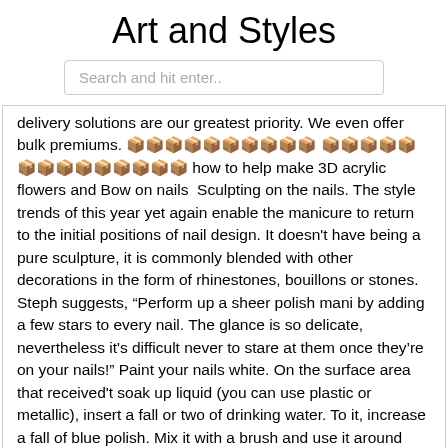Art and Styles
Search and hit enter..
delivery solutions are our greatest priority. We even offer bulk premiums.                           how to help make 3D acrylic flowers and Bow on nails  Sculpting on the nails. The style trends of this year yet again enable the manicure to return to the initial positions of nail design. It doesn't have being a pure sculpture, it is commonly blended with other decorations in the form of rhinestones, bouillons or stones. Steph suggests, “Perform up a sheer polish mani by adding a few stars to every nail. The glance is so delicate, nevertheless it's difficult never to stare at them once they’re on your nails!” Paint your nails white. On the surface area that received't soak up liquid (you can use plastic or metallic), insert a fall or two of drinking water. To it, increase a fall of blue polish. Mix it with a brush and use it around almost all of the nail, leaving a couple of centimeters near the cuticle. So, which among these 3D Nail art trends is your favorite? Remember to go away a remark and share your ideas with us.